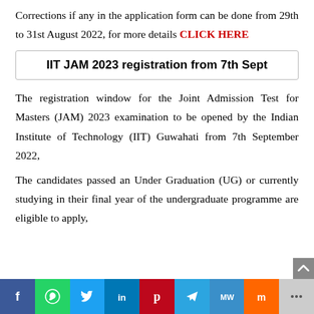Corrections if any in the application form can be done from 29th to 31st August 2022, for more details CLICK HERE
IIT JAM 2023 registration from 7th Sept
The registration window for the Joint Admission Test for Masters (JAM) 2023 examination to be opened by the Indian Institute of Technology (IIT) Guwahati from 7th September 2022,
The candidates passed an Under Graduation (UG) or currently studying in their final year of the undergraduate programme are eligible to apply,
[Figure (other): Social media sharing buttons bar: Facebook, WhatsApp, Twitter, LinkedIn, Pinterest, Telegram, MW, Mix, More]